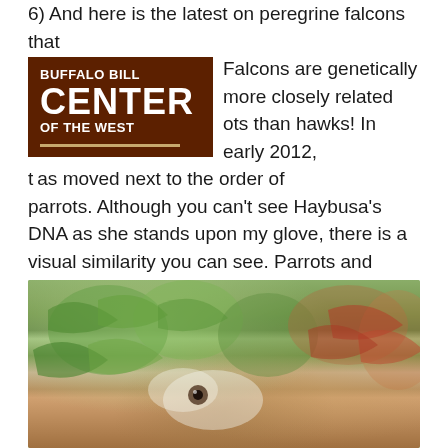6) And here is the latest on peregrine falcons that make Falcons are genetically more closely related ots than hawks! In early 2012, the falcon was moved next to the order of parrots. Although you can't see Haybusa's DNA as she stands upon my glove, there is a visual similarity you can see. Parrots and falcons both have the sharp tomial tooth on their beaks, which hawks and eagles lack. My parrot Chiquita's tomial tooth looks just like Hayabusa's.
[Figure (logo): Buffalo Bill Center of the West logo — dark brown background with white bold text]
[Figure (photo): Close-up photograph of a colorful parrot with green, red, and white feathers]